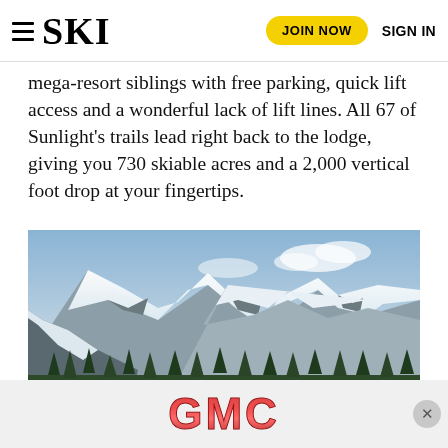≡ SKI  JOIN NOW  SIGN IN
mega-resort siblings with free parking, quick lift access and a wonderful lack of lift lines. All 67 of Sunlight's trails lead right back to the lodge, giving you 730 skiable acres and a 2,000 vertical foot drop at your fingertips.
[Figure (photo): Snow-covered mountain peaks with blue sky, evergreen trees in foreground, ski resort terrain visible on mountain slopes]
[Figure (other): GMC advertisement banner at bottom of page with red metallic GMC logo on light gray background with close button]